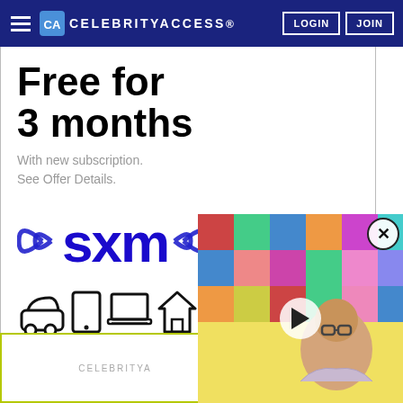CELEBRITYACCESS. LOGIN JOIN
[Figure (advertisement): SiriusXM advertisement: 'Free for 3 months' with new subscription. Features SXM logo with radio waves, device icons (car, tablet, laptop, house), and a 'START LISTENING' blue CTA button.]
[Figure (photo): Video overlay thumbnail showing a person with glasses in front of a colorful music album mosaic collage, with a yellow background. Includes a play button and close (X) button.]
[Figure (advertisement): Partial second CelebrityAccess advertisement visible at bottom left with yellow-green border.]